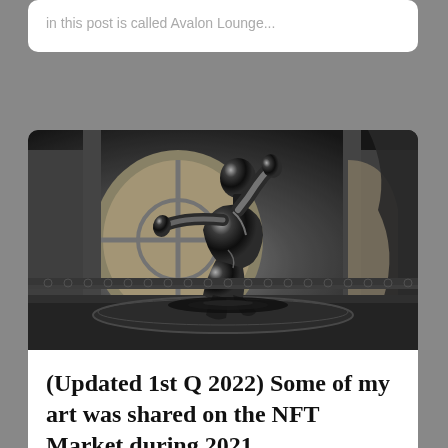in this post is called Avalon Lounge...
[Figure (photo): A shiny black metallic humanoid sculpture in a dynamic dancing pose, set against an ornate architectural interior with large arched windows and draped curtains. The figure is highly reflective with a liquid-like surface finish.]
(Updated 1st Q 2022) Some of my art was shared on the NFT Market during 2021...